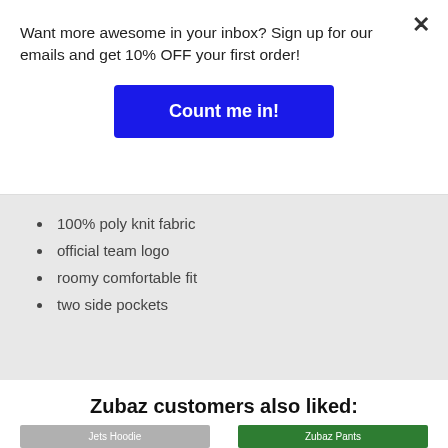Want more awesome in your inbox? Sign up for our emails and get 10% OFF your first order!
Count me in!
100% poly knit fabric
official team logo
roomy comfortable fit
two side pockets
Zubaz customers also liked:
[Figure (photo): Photo of person wearing Jets gray hoodie sweatshirt]
[Figure (photo): Photo of person wearing green and white Zubaz patterned pants]